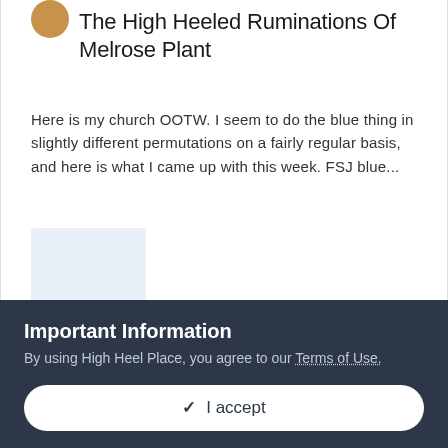[Figure (photo): Circular avatar/profile image with tan/brown color]
The High Heeled Ruminations Of Melrose Plant
Here is my church OOTW. I seem to do the blue thing in slightly different permutations on a fairly regular basis, and here is what I came up with this week. FSJ blue...
[Figure (photo): Light blue/grey placeholder image thumbnail]
August 1
↑ 7
Important Information
By using High Heel Place, you agree to our Terms of Use.
✓ I accept